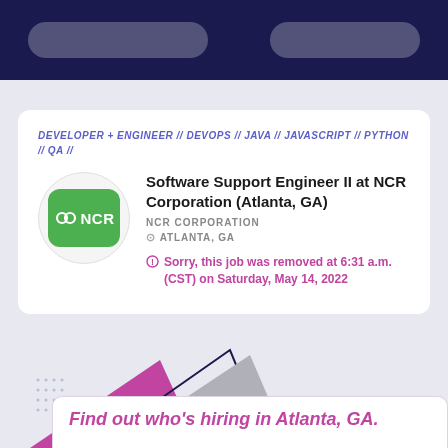DEVELOPER + ENGINEER // DEVOPS // JAVA // JAVASCRIPT // PYTHON // QA //
Software Support Engineer II at NCR Corporation (Atlanta, GA)
NCR CORPORATION
ATLANTA, GA
Sorry, this job was removed at 6:31 a.m. (CST) on Saturday, May 14, 2022
Find out who's hiring in Atlanta, GA.